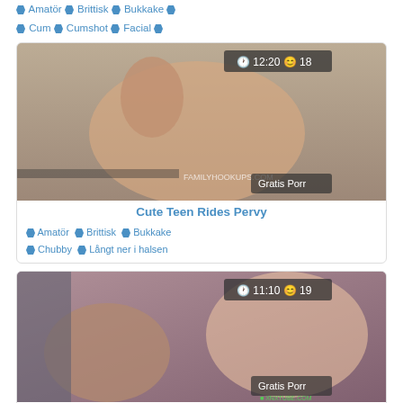🏷 Amatör 🏷 Brittisk 🏷 Bukkake 🏷 Cum 🏷 Cumshot 🏷 Facial 🏷
[Figure (photo): Thumbnail image of video 'Cute Teen Rides Pervy' with badge showing 12:20 duration and 18 views, and 'Gratis Porr' watermark]
Cute Teen Rides Pervy
🏷 Amatör 🏷 Brittisk 🏷 Bukkake 🏷 Chubby 🏷 Långt ner i halsen
[Figure (photo): Thumbnail image of video 'Naughty Cute Niece Caught' with badge showing 11:10 duration and 19 views, and 'Gratis Porr' watermark]
Naughty Cute Niece Caught
🏷 Stor Snopp 🏷 Svart 🏷 Blond 🏷